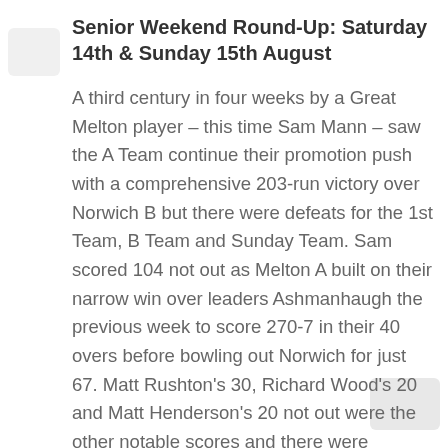Senior Weekend Round-Up: Saturday 14th & Sunday 15th August
A third century in four weeks by a Great Melton player – this time Sam Mann – saw the A Team continue their promotion push with a comprehensive 203-run victory over Norwich B but there were defeats for the 1st Team, B Team and Sunday Team. Sam scored 104 not out as Melton A built on their narrow win over leaders Ashmanhaugh the previous week to score 270-7 in their 40 overs before bowling out Norwich for just 67. Matt Rushton's 30, Richard Wood's 20 and Matt Henderson's 20 not out were the other notable scores and there were cameos